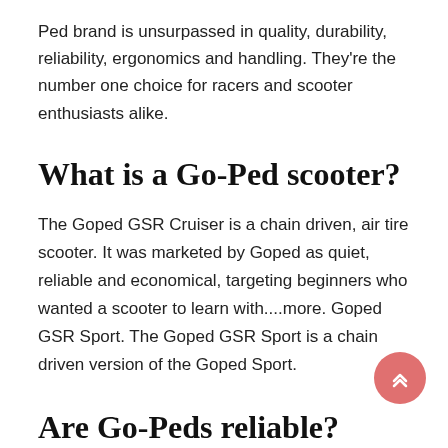Ped brand is unsurpassed in quality, durability, reliability, ergonomics and handling. They're the number one choice for racers and scooter enthusiasts alike.
What is a Go-Ped scooter?
The Goped GSR Cruiser is a chain driven, air tire scooter. It was marketed by Goped as quiet, reliable and economical, targeting beginners who wanted a scooter to learn with....more. Goped GSR Sport. The Goped GSR Sport is a chain driven version of the Goped Sport.
Are Go-Peds reliable?